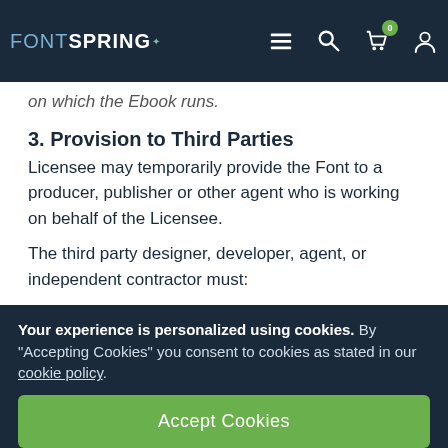FONTSPRING
on which the Ebook runs.
3. Provision to Third Parties
Licensee may temporarily provide the Font to a producer, publisher or other agent who is working on behalf of the Licensee.
The third party designer, developer, agent, or independent contractor must:
(1) Agree in writing to use the Font exclusively for Licensee's work, according to the terms of this EULA.
(2) Retain no copies of the Font upon completion of the
Your experience is personalized using cookies. By "Accepting Cookies" you consent to cookies as stated in our cookie policy.
Accept Cookies